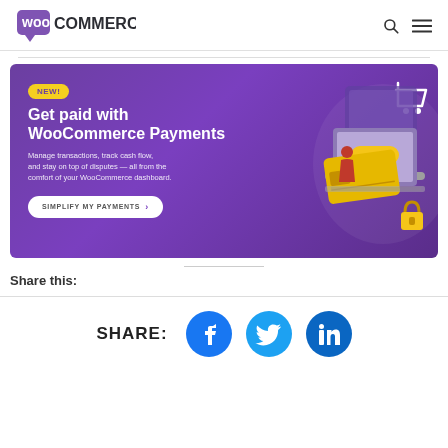WooCommerce
[Figure (illustration): WooCommerce Payments promotional banner with purple background, showing text 'NEW! Get paid with WooCommerce Payments. Manage transactions, track cash flow, and stay on top of disputes — all from the comfort of your WooCommerce dashboard.' with a 'SIMPLIFY MY PAYMENTS' button and an isometric illustration of a laptop with payment card and shopping cart icon.]
Share this:
[Figure (infographic): Social share bar with Facebook, Twitter, and LinkedIn circle icons in blue/teal colors, preceded by the label SHARE:]